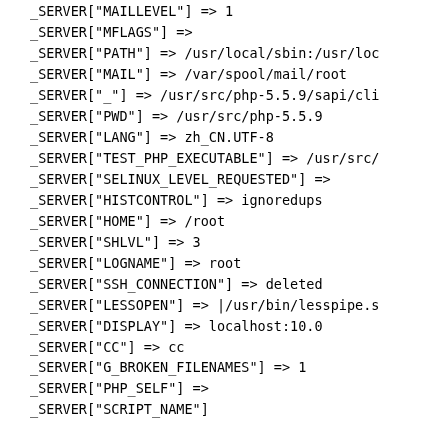_SERVER["MAILLEVEL"] => 1
_SERVER["MFLAGS"] =>
_SERVER["PATH"] => /usr/local/sbin:/usr/loc
_SERVER["MAIL"] => /var/spool/mail/root
_SERVER["_"] => /usr/src/php-5.5.9/sapi/cli
_SERVER["PWD"] => /usr/src/php-5.5.9
_SERVER["LANG"] => zh_CN.UTF-8
_SERVER["TEST_PHP_EXECUTABLE"] => /usr/src/
_SERVER["SELINUX_LEVEL_REQUESTED"] =>
_SERVER["HISTCONTROL"] => ignoredups
_SERVER["HOME"] => /root
_SERVER["SHLVL"] => 3
_SERVER["LOGNAME"] => root
_SERVER["SSH_CONNECTION"] => deleted
_SERVER["LESSOPEN"] => |/usr/bin/lesspipe.s
_SERVER["DISPLAY"] => localhost:10.0
_SERVER["CC"] => cc
_SERVER["G_BROKEN_FILENAMES"] => 1
_SERVER["PHP_SELF"] =>
_SERVER["SCRIPT_NAME"]